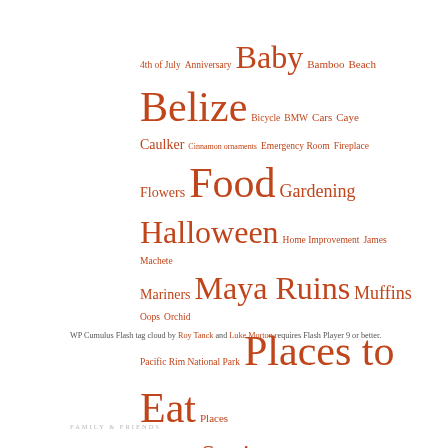[Figure (infographic): Word/tag cloud with various tags in different sizes, all in orange/rust color on white background. Tags include: 4th of July, Anniversary, Baby, Bamboo, Beach, Belize, Bicycle, BMW, Cars, Caye Caulker, Cinnamon ornaments, Emergency Room, Fireplace, Flowers, Food, Gardening, Halloween, Home Improvement, James Machete, Mariners, Maya Ruins, Muffins, Oops, Orchid, Pacific Rim National Park, Places to Eat, Places to Stay, Sailing, Sewing, Skagit Valley Tulip Festival, Snow, Snowshoeing, Spam, Spider, Spindrift, Spooner Berry Farms, Stitches, Strawberry Buddha, T-Bone, Tofino, USS KIDD, Valentine's Day, Water Taxi, Zoo]
WP Cumulus Flash tag cloud by Roy Tanck and Luke Morton requires Flash Player 9 or better.
FAMILY & FRIENDS